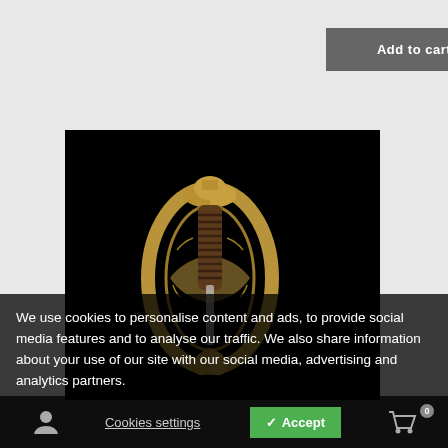Add to cart
[Figure (photo): Close-up photograph of an ornate antique sword/sabre guard and grip with gold/brass decoration and dark wrapped handle, against a black background]
We use cookies to personalise content and ads, to provide social media features and to analyse our traffic. We also share information about your use of our site with our social media, advertising and analytics partners.
Cookies settings
✓ Accept